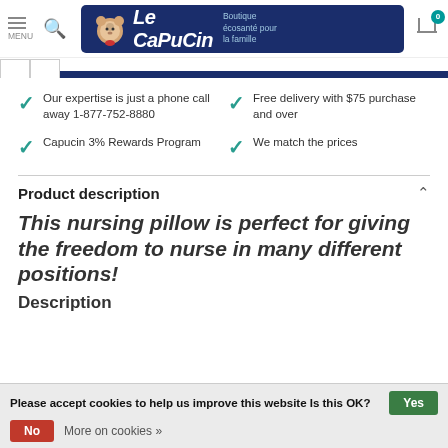MENU | Search | Le Capucin — Boutique écosanté pour la famille | Cart 0
Our expertise is just a phone call away 1-877-752-8880
Free delivery with $75 purchase and over
Capucin 3% Rewards Program
We match the prices
Product description
This nursing pillow is perfect for giving the freedom to nurse in many different positions!
Description
Please accept cookies to help us improve this website Is this OK? Yes | No | More on cookies »